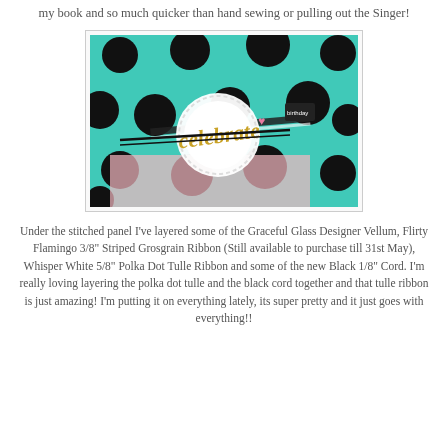my book and so much quicker than hand sewing or pulling out the Singer!
[Figure (photo): A craft card featuring a teal/aqua background with large black polka dots, decorated with a white lace doily, gold glitter 'celebrate' script die-cut, a small pink heart, ribbons, and black cord]
Under the stitched panel I've layered some of the Graceful Glass Designer Vellum, Flirty Flamingo 3/8" Striped Grosgrain Ribbon (Still available to purchase till 31st May), Whisper White 5/8" Polka Dot Tulle Ribbon and some of the new Black 1/8" Cord. I'm really loving layering the polka dot tulle and the black cord together and that tulle ribbon is just amazing! I'm putting it on everything lately, its super pretty and it just goes with everything!!